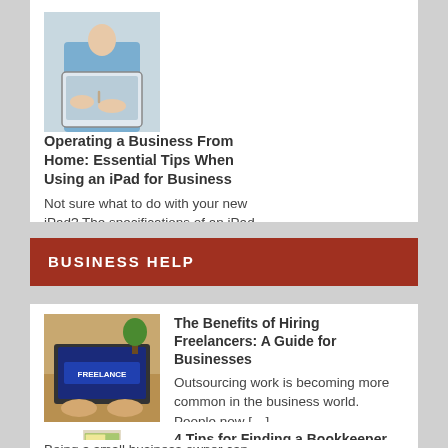[Figure (photo): Person using a tablet/iPad, wearing blue clothing, close-up of hands on tablet]
Operating a Business From Home: Essential Tips When Using an iPad for Business
Not sure what to do with your new iPad? The specifications of an iPad can […]
BUSINESS HELP
[Figure (photo): Laptop screen showing 'FREELANCE' text, with hands typing, on a wooden desk]
The Benefits of Hiring Freelancers: A Guide for Businesses
Outsourcing work is becoming more common in the business world. People now […]
[Figure (photo): File folders with a tab labeled 'Bookkeeping', green and manila folders]
4 Tips for Finding a Bookkeeper for Small Business
Being a small business owner can